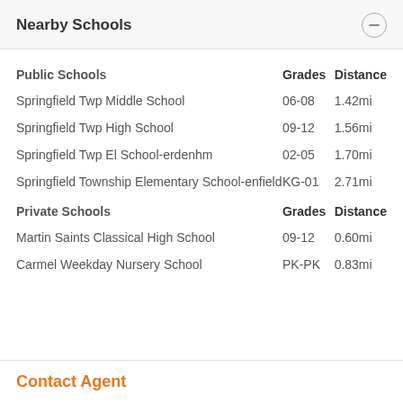Nearby Schools
| Public Schools | Grades | Distance |
| --- | --- | --- |
| Springfield Twp Middle School | 06-08 | 1.42mi |
| Springfield Twp High School | 09-12 | 1.56mi |
| Springfield Twp El School-erdenhm | 02-05 | 1.70mi |
| Springfield Township Elementary School-enfield | KG-01 | 2.71mi |
| Private Schools | Grades | Distance |
| --- | --- | --- |
| Martin Saints Classical High School | 09-12 | 0.60mi |
| Carmel Weekday Nursery School | PK-PK | 0.83mi |
Contact Agent